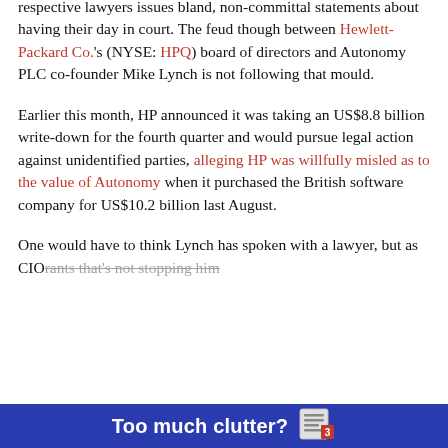respective lawyers issues bland, non-committal statements about having their day in court. The feud though between Hewlett-Packard Co.'s (NYSE: HPQ) board of directors and Autonomy PLC co-founder Mike Lynch is not following that mould.
Earlier this month, HP announced it was taking an US$8.8 billion write-down for the fourth quarter and would pursue legal action against unidentified parties, alleging HP was willfully misled as to the value of Autonomy when it purchased the British software company for US$10.2 billion last August.
One would have to think Lynch has spoken with a lawyer, but as CIOrants that's not stopping him
[Figure (infographic): Dark blue banner at the bottom of the page with bold white text 'Too much clutter?' and a newspaper/document icon on the right.]